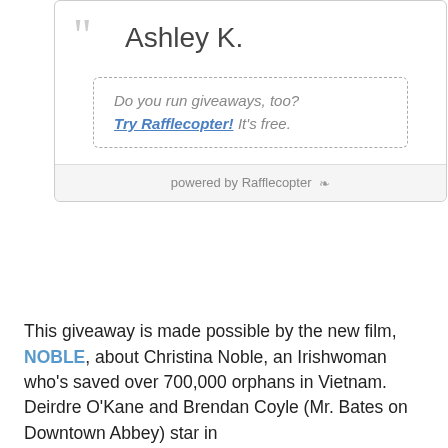[Figure (other): Rafflecopter giveaway widget showing winner 'Ashley K.' with quote icon, a dashed promo box saying 'Do you run giveaways, too? Try Rafflecopter! It's free.', and a footer 'powered by Rafflecopter']
This giveaway is made possible by the new film, NOBLE, about Christina Noble, an Irishwoman who's saved over 700,000 orphans in Vietnam. Deirdre O'Kane and Brendan Coyle (Mr. Bates on Downtown Abbey) star in